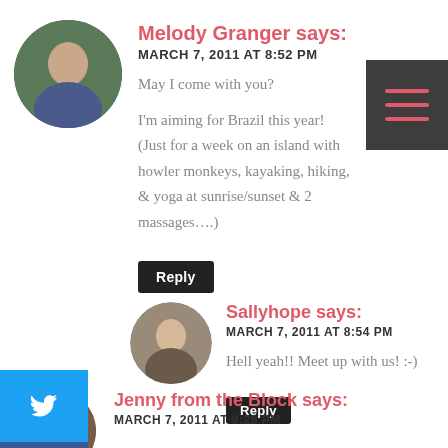Melody Granger says:
MARCH 7, 2011 AT 8:52 PM
May I come with you?
I'm aiming for Brazil this year! (Just for a week on an island with howler monkeys, kayaking, hiking, & yoga at sunrise/sunset & 2 massages….)
Reply
Sallyhope says:
MARCH 7, 2011 AT 8:54 PM
Hell yeah!! Meet up with us! :-)
Reply
Jenny from the Block says:
MARCH 7, 2011 AT 9:28 PM